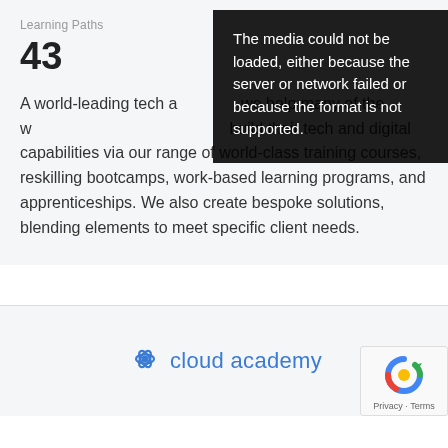Learning Paths
43
A world-leading tech academy, we help many of the world's leading organizations build their tech and digital capabilities via our range of world-class training courses, reskilling bootcamps, work-based learning programs, and apprenticeships. We also create bespoke solutions, blending elements to meet specific client needs.
[Figure (screenshot): Media error overlay with text: The media could not be loaded, either because the server or network failed or because the format is not supported.]
[Figure (logo): Cloud Academy logo with flower/asterisk icon and text 'cloud academy' in blue]
[Figure (other): reCAPTCHA widget with Privacy and Terms links]